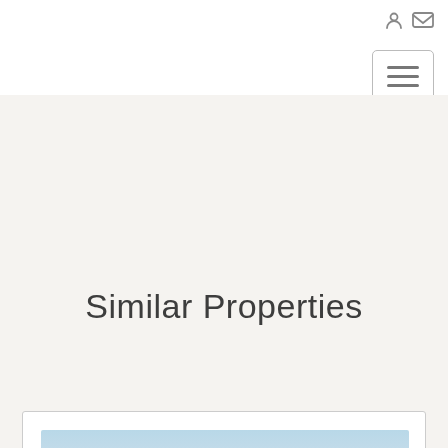[Figure (screenshot): Navigation header with login icon and mail icon on the right side, and a hamburger menu button below]
Similar Properties
[Figure (photo): Partially visible property listing card with a house photo showing a house with a green triangular roof against a bright sky]